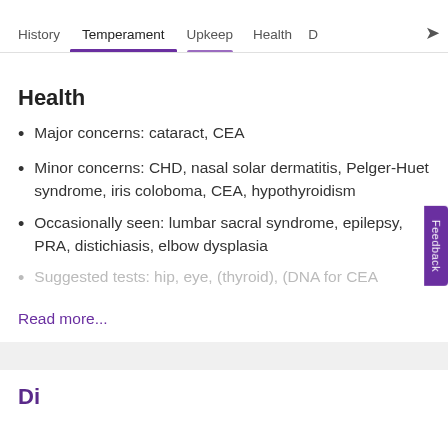History  Temperament  Upkeep  Health  D
Health
Major concerns: cataract, CEA
Minor concerns: CHD, nasal solar dermatitis, Pelger-Huet syndrome, iris coloboma, CEA, hypothyroidism
Occasionally seen: lumbar sacral syndrome, epilepsy, PRA, distichiasis, elbow dysplasia
Suggested tests: hip, eye, (thyroid), (DNA for CEA
Read more...
Di...